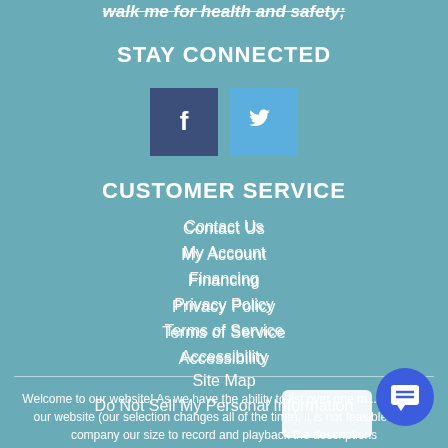walk me for health and safety;
STAY CONNECTED
[Figure (other): Facebook and Twitter social media icon buttons. Facebook is dark blue square with white 'f', Twitter is light blue square with white bird logo.]
CUSTOMER SERVICE
Contact Us
My Account
Financing
Privacy Policy
Terms of Service
Accessibility
Site Map
Do Not Sell My Personal Information
Welcome to our website! As we have the ability to list over one m... items on our website (our selection changes all of the time), it is not feasible for a company our size to record and playback the descriptions